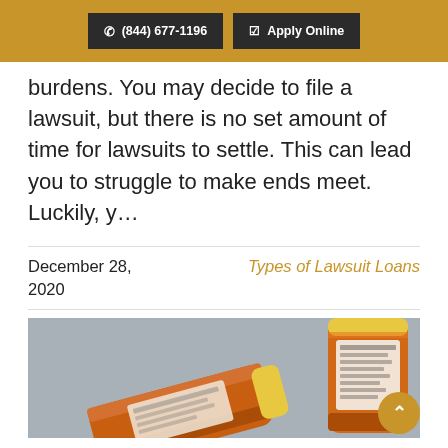(844) 677-1196  Apply Online
burdens. You may decide to file a lawsuit, but there is no set amount of time for lawsuits to settle. This can lead you to struggle to make ends meet. Luckily, y…
December 28, 2020
Types of Lawsuit Loans
[Figure (photo): Orange prescription medicine bottles lying on a gray surface]